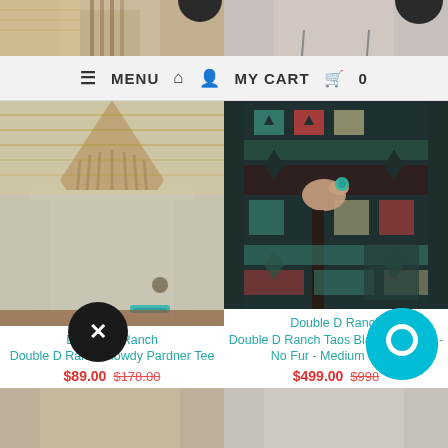[Figure (screenshot): Top partial product images - left showing western shirt with fringe, right showing woman with earrings]
≡ MENU  🏠  👤  MY CART  🛒  0
[Figure (photo): Double D Ranch Howdy Pardner Tee - woman wearing beige tee with fringe detail]
[Figure (photo): Double D Ranch Taos Blanket Duster - woman wearing colorful aztec print duster coat]
Double D Ranch
Double D Ranch Howdy Pardner Tee
$89.00  $178.00
Double D Ranch
Double D Ranch Taos Blanket Duster - No Fur - Medium ONLY
$499.00  $998
[Figure (photo): Bottom partial product images row]
[Figure (other): Close (X) button overlay - black circle with X]
[Figure (other): Chat button overlay - cyan circle]